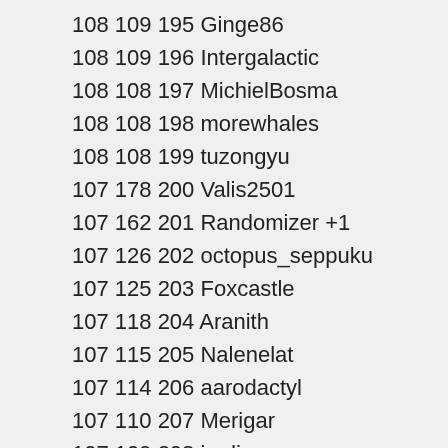108 109 195 Ginge86
108 109 196 Intergalactic
108 108 197 MichielBosma
108 108 198 morewhales
108 108 199 tuzongyu
107 178 200 Valis2501
107 162 201 Randomizer +1
107 126 202 octopus_seppuku
107 125 203 Foxcastle
107 118 204 Aranith
107 115 205 Nalenelat
107 114 206 aarodactyl
107 110 207 Merigar
107 109 208 jmdingess
107 108 209 BunnyGo
107 108 210 koby11
107 107 211 Carol
107 107 212 notmischa
107 107 213 Ozcar
108 114 214 [partial]